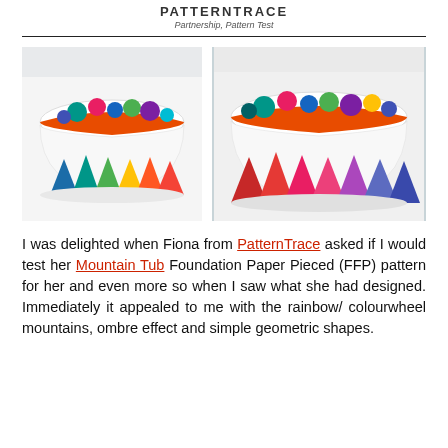PATTERNTRACE
Partnership, Pattern Test
[Figure (photo): Two colorful fabric baskets (Mountain Tub) filled with yarn balls, featuring rainbow/colourwheel triangle mountain pattern on white sides with orange trim]
I was delighted when Fiona from PatternTrace asked if I would test her Mountain Tub Foundation Paper Pieced (FFP) pattern for her and even more so when I saw what she had designed. Immediately it appealed to me with the rainbow/ colourwheel mountains, ombre effect and simple geometric shapes.